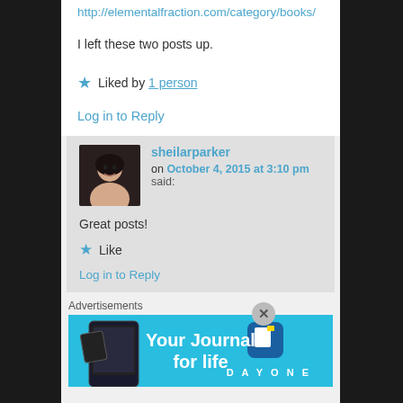http://elementalfraction.com/category/books/
I left these two posts up.
★ Liked by 1 person
Log in to Reply
sheilarparker on October 4, 2015 at 3:10 pm said:
Great posts!
★ Like
Log in to Reply
Advertisements
[Figure (screenshot): Day One app advertisement banner: 'Your Journal for life' with app icon and phone image on cyan/blue background]